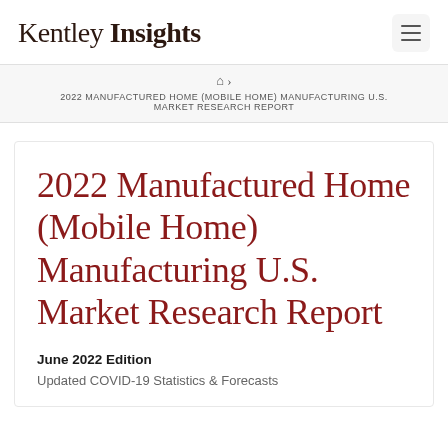Kentley Insights
🏠 › 2022 MANUFACTURED HOME (MOBILE HOME) MANUFACTURING U.S. MARKET RESEARCH REPORT
2022 Manufactured Home (Mobile Home) Manufacturing U.S. Market Research Report
June 2022 Edition
Updated COVID-19 Statistics & Forecasts